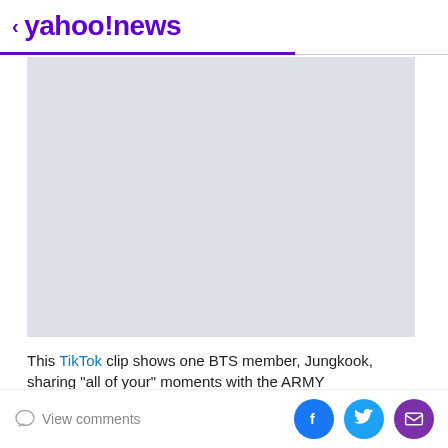< yahoo!news
[Figure (photo): Large image placeholder area with light gray/blue background, appears to be a video or image that has not loaded]
This TikTok clip shows one BTS member, Jungkook, sharing "all of your" moments with the ARMY
View comments | Share on Facebook | Share on Twitter | Share via Email